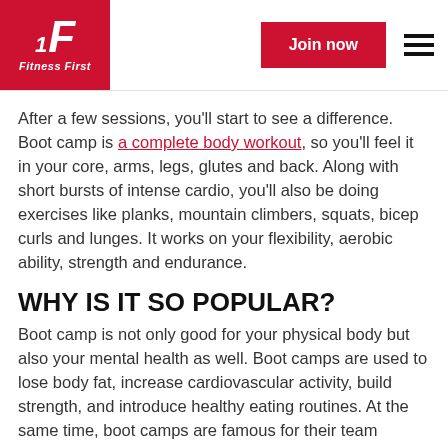Fitness First — Join now
After a few sessions, you'll start to see a difference. Boot camp is a complete body workout, so you'll feel it in your core, arms, legs, glutes and back. Along with short bursts of intense cardio, you'll also be doing exercises like planks, mountain climbers, squats, bicep curls and lunges. It works on your flexibility, aerobic ability, strength and endurance.
WHY IS IT SO POPULAR?
Boot camp is not only good for your physical body but also your mental health as well. Boot camps are used to lose body fat, increase cardiovascular activity, build strength, and introduce healthy eating routines. At the same time, boot camps are famous for their team